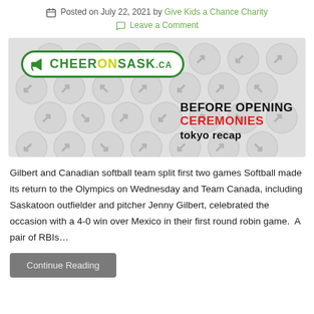Posted on July 22, 2021 by Give Kids a Chance Charity
Leave a Comment
[Figure (logo): CheerOnSask.ca banner logo with text 'BEFORE OPENING CEREMONIES tokyo recap' on a gray hexagonal sports icon background]
Gilbert and Canadian softball team split first two games Softball made its return to the Olympics on Wednesday and Team Canada, including Saskatoon outfielder and pitcher Jenny Gilbert, celebrated the occasion with a 4-0 win over Mexico in their first round robin game.  A pair of RBIs…
Continue Reading